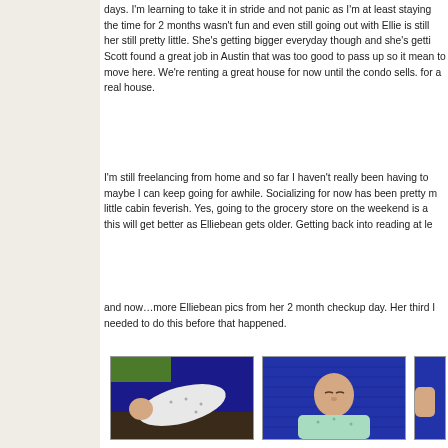days. I'm learning to take it in stride and not panic as I'm at least staying the time for 2 months wasn't fun and even still going out with Ellie is still her still pretty little. She's getting bigger everyday though and she's getti Scott found a great job in Austin that was too good to pass up so it mean to move here. We're renting a great house for now until the condo sells. for a real house.
I'm still freelancing from home and so far I haven't really been having to maybe I can keep going for awhile. Socializing for now has been pretty m little cabin feverish. Yes, going to the grocery store on the weekend is a this will get better as Elliebean gets older. Getting back into reading at le
and now…more Elliebean pics from her 2 month checkup day. Her third I needed to do this before that happened.
[Figure (photo): Baby (Elliebean) lying on a blue blanket on grass, wearing a white patterned outfit, seen from above at an angle]
[Figure (photo): Baby (Elliebean) lying on a blue textured blanket, face visible, wearing a mint/light green patterned outfit]
[Figure (photo): Partial photo of baby on blue blanket, partially cropped at right edge of page]